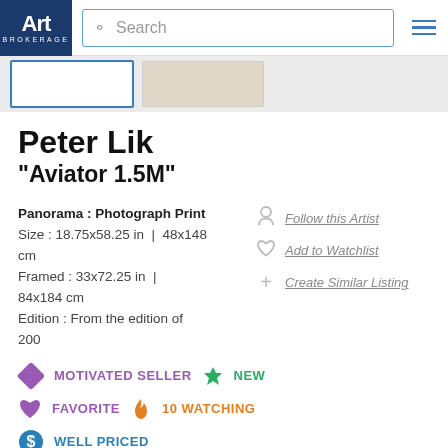[Figure (screenshot): Art Brokerage website header with logo, search bar, and hamburger menu]
[Figure (screenshot): Thumbnail strip showing two artwork image thumbnails]
Peter Lik
"Aviator 1.5M"
Panorama : Photograph Print
Size : 18.75x58.25 in | 48x148 cm
Framed : 33x72.25 in | 84x184 cm
Edition : From the edition of 200
Follow this Artist
Add to Watchlist
Create Similar Listing
MOTIVATED SELLER  NEW
FAVORITE  10 WATCHING
WELL PRICED